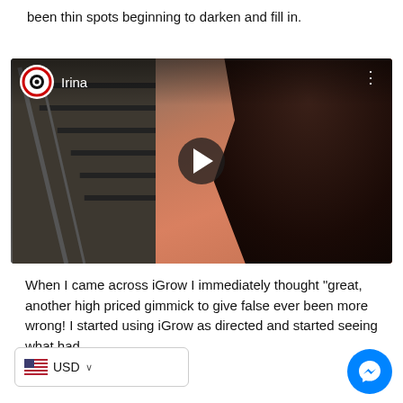been thin spots beginning to darken and fill in.
[Figure (screenshot): Video thumbnail showing a woman named Irina in a red dress standing near stairs, with a play button overlay and a channel logo in the top left corner.]
When I came across iGrow I immediately thought "great, another high priced gimmick to give false [hope...I could not have] ever been more wrong! I started using iGrow as directed and started seeing what had